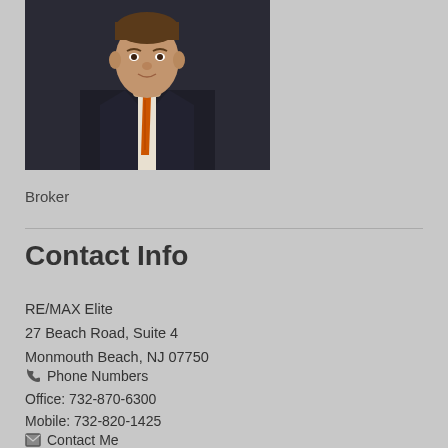[Figure (photo): Headshot of a man in a dark suit with an orange tie, against a dark background]
Broker
Contact Info
RE/MAX Elite
27 Beach Road, Suite 4
Monmouth Beach, NJ 07750
Phone Numbers
Office: 732-870-6300
Mobile: 732-820-1425
Contact Me